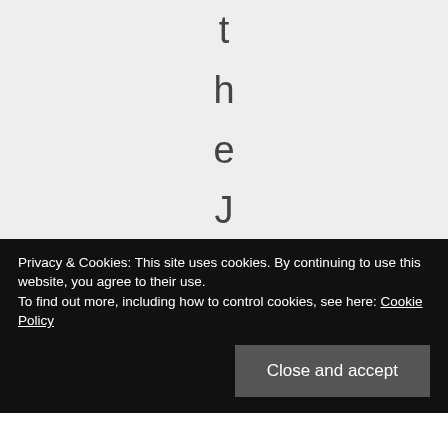t h e J o b s , J o b s
Privacy & Cookies: This site uses cookies. By continuing to use this website, you agree to their use. To find out more, including how to control cookies, see here: Cookie Policy
Close and accept